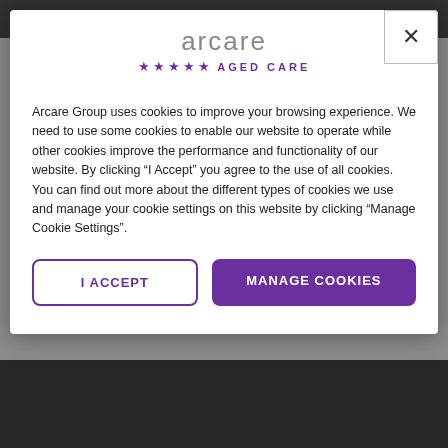[Figure (screenshot): Background showing two photos: a blurred image at top and an interior room photo at bottom, partially obscured by a cookie consent modal overlay.]
[Figure (logo): Arcare logo with text 'arcare' in grey and '★★★★★ AGED CARE' in purple below.]
Arcare Group uses cookies to improve your browsing experience. We need to use some cookies to enable our website to operate while other cookies improve the performance and functionality of our website. By clicking "I Accept" you agree to the use of all cookies. You can find out more about the different types of cookies we use and manage your cookie settings on this website by clicking "Manage Cookie Settings".
I ACCEPT
MANAGE COOKIES